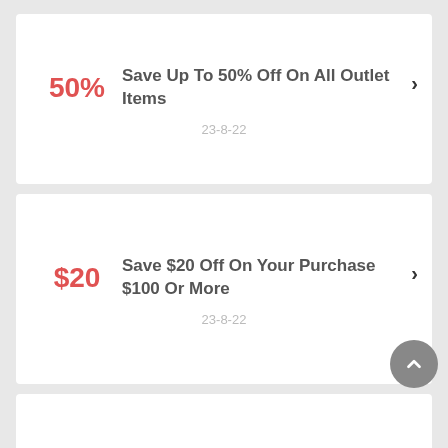50% — Save Up To 50% Off On All Outlet Items — 23-8-22
$20 — Save $20 Off On Your Purchase $100 Or More — 23-8-22
Get Special Offer On School Uniforms You Order